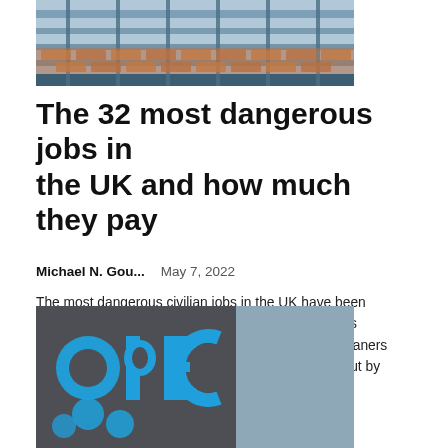[Figure (photo): Construction scaffolding with bricks, industrial scene at the top of the page]
The 32 most dangerous jobs in the UK and how much they pay
Michael N. Gou...   May 7, 2022
The most dangerous civilian jobs in the UK have been revealed in a new study. The 32-job ranking includes paramedics and firefighters at the top and sewer cleaners and painters at the bottom. The study was carried out by outstanding resume!-->...
[Figure (photo): OPEC logo — blue lettering on grey and blue background]